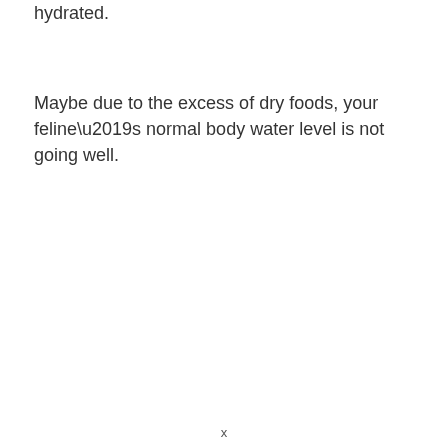hydrated.
Maybe due to the excess of dry foods, your feline’s normal body water level is not going well.
x